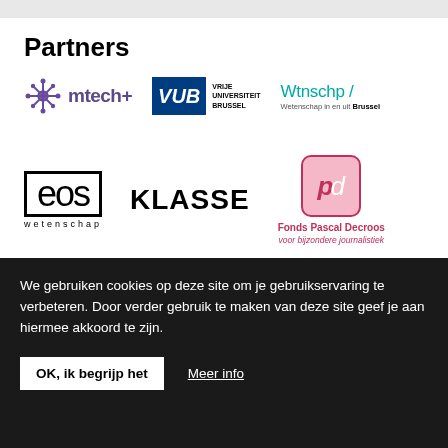Partners
[Figure (logo): mtech+ logo with purple gear/snowflake icon and bold purple text 'mtech+']
[Figure (logo): VUB logo: dark blue box with italic 'VUB' in white, next to 'VRIJE UNIVERSITEIT BRUSSEL' text]
[Figure (logo): Wtnschp / logo in teal with tagline 'Wetenschap in en uit Brussel']
[Figure (logo): EOS wetenschap logo: thin-weight rounded letters in a box outline, with 'wetenschap' below]
[Figure (logo): KLASSE logo in bold black uppercase letters]
[Figure (logo): Fonds Pascal Decroos logo: pink/crimson rounded box with 'pd' letters, and text 'Fonds Pascal Decroos voor bijzondere journalistiek']
We gebruiken cookies op deze site om je gebruikservaring te verbeteren. Door verder gebruik te maken van deze site geef je aan hiermee akkoord te zijn.
OK, ik begrijp het
Meer info